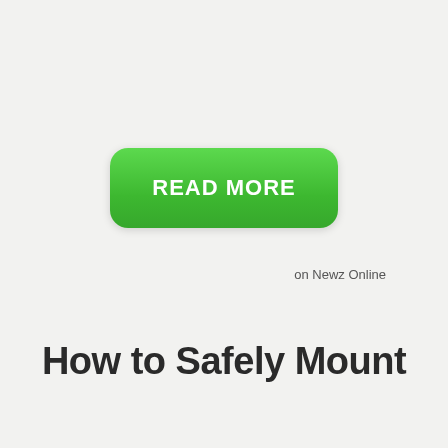[Figure (other): A large green rounded rectangle button with white bold uppercase text reading 'READ MORE', styled with a gradient green background]
on Newz Online
How to Safely Mount